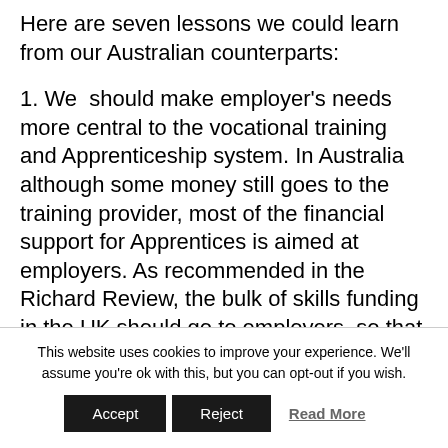Here are seven lessons we could learn from our Australian counterparts:
1. We should make employer's needs more central to the vocational training and Apprenticeship system. In Australia although some money still goes to the training provider, most of the financial support for Apprentices is aimed at employers. As recommended in the Richard Review, the bulk of skills funding in the UK should go to employers, so that they can then invest in the
This website uses cookies to improve your experience. We'll assume you're ok with this, but you can opt-out if you wish.